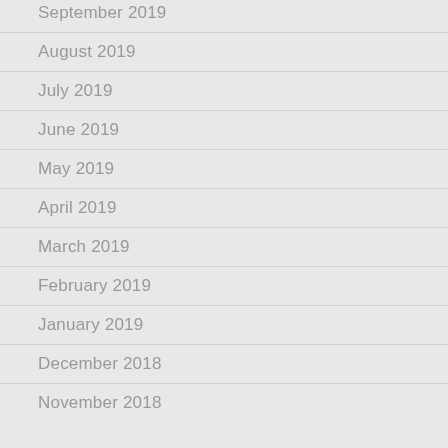September 2019
August 2019
July 2019
June 2019
May 2019
April 2019
March 2019
February 2019
January 2019
December 2018
November 2018